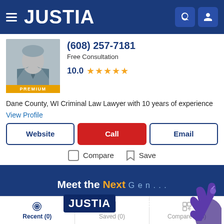JUSTIA
(608) 257-7181
Free Consultation
10.0 ★★★★★
Dane County, WI Criminal Law Lawyer with 10 years of experience
View Profile
Website | Call | Email
Compare   Save
[Figure (infographic): Justia Connect advertisement banner with text 'Meet the Next Gen... JUSTIA Connect' on dark blue background with hand illustration]
Recent (0)   Saved (0)   Compare (0/3)